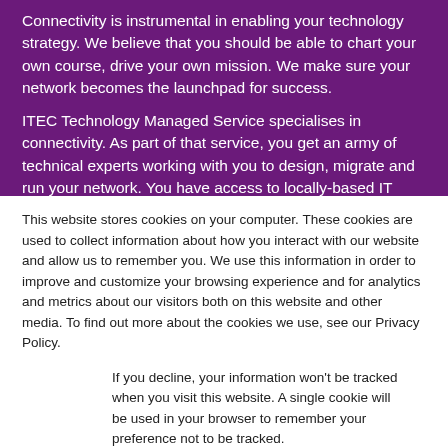Connectivity is instrumental in enabling your technology strategy. We believe that you should be able to chart your own course, drive your own mission. We make sure your network becomes the launchpad for success.
ITEC Technology Managed Service specialises in connectivity. As part of that service, you get an army of technical experts working with you to design, migrate and run your network. You have access to locally-based IT support 12 hours a day, seven days a week. We're with you. For good.
This website stores cookies on your computer. These cookies are used to collect information about how you interact with our website and allow us to remember you. We use this information in order to improve and customize your browsing experience and for analytics and metrics about our visitors both on this website and other media. To find out more about the cookies we use, see our Privacy Policy.
If you decline, your information won't be tracked when you visit this website. A single cookie will be used in your browser to remember your preference not to be tracked.